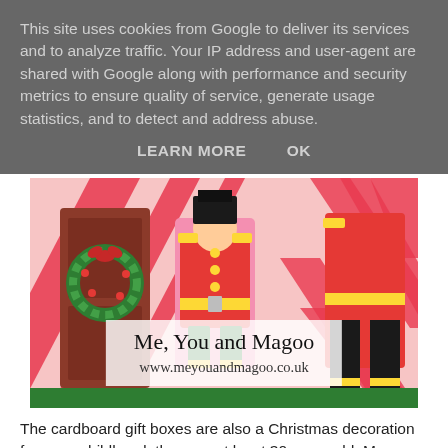This site uses cookies from Google to deliver its services and to analyze traffic. Your IP address and user-agent are shared with Google along with performance and security metrics to ensure quality of service, generate usage statistics, and to detect and address abuse.
LEARN MORE    OK
[Figure (photo): Close-up photo of cardboard gift boxes with Christmas decoration motifs including toy soldiers in red uniforms with yellow epaulettes, a green wreath on a wooden door, and candy-cane striped background. A watermark overlay reads 'Me, You and Magoo' and 'www.meyouandmagoo.co.uk'.]
The cardboard gift boxes are also a Christmas decoration from my childhood, they are at least 30 years old. Mum